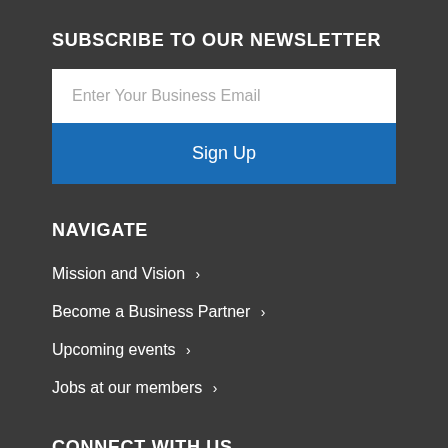SUBSCRIBE TO OUR NEWSLETTER
Enter Your Business Email
Sign Up
NAVIGATE
Mission and Vision >
Become a Business Partner >
Upcoming events >
Jobs at our members >
CONNECT WITH US